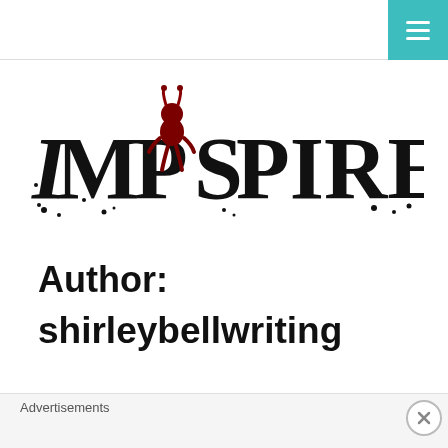[Figure (logo): IMPSPIRED logo with a stylized imp/devil character sitting on the letter P, text in splattered ink style black lettering with red imp figure]
Author: shirleybellwriting
Advertisements